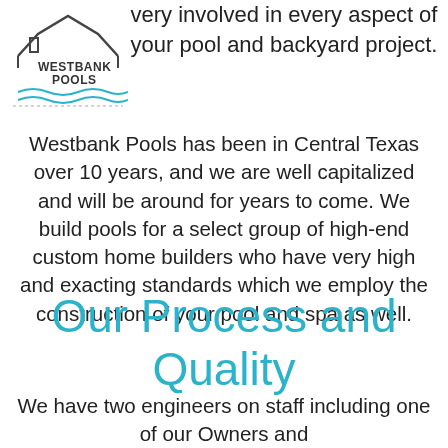[Figure (logo): Westbank Pools logo with house roof outline and waves below text]
very involved in every aspect of your pool and backyard project.
Westbank Pools has been in Central Texas over 10 years, and we are well capitalized and will be around for years to come. We build pools for a select group of high-end custom home builders who have very high and exacting standards which we employ the construction of your pool and spa as well.
Our Process and Quality
We have two engineers on staff including one of our Owners and